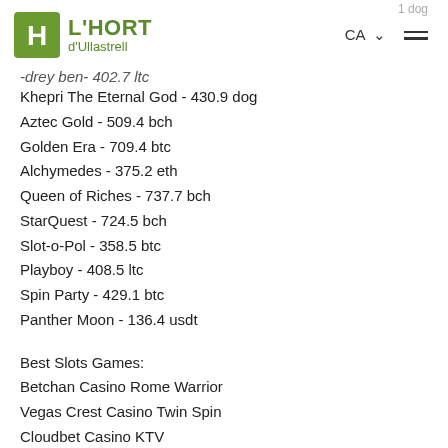L'HORT d'Ullastrell — CA navigation header
Khepri The Eternal God - 430.9 dog
Aztec Gold - 509.4 bch
Golden Era - 709.4 btc
Alchymedes - 375.2 eth
Queen of Riches - 737.7 bch
StarQuest - 724.5 bch
Slot-o-Pol - 358.5 btc
Playboy - 408.5 ltc
Spin Party - 429.1 btc
Panther Moon - 136.4 usdt
Best Slots Games:
Betchan Casino Rome Warrior
Vegas Crest Casino Twin Spin
Cloudbet Casino KTV
mBTC free bet Zhao Cai Tong Zi